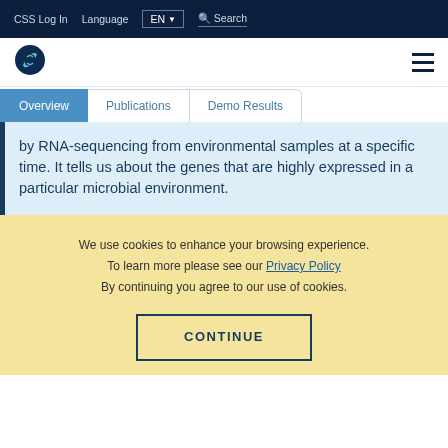CSS Log In  Language  EN  Search
[Figure (logo): Circular logo with DNA/genomics motif in blue and green]
Overview  Publications  Demo Results
by RNA-sequencing from environmental samples at a specific time. It tells us about the genes that are highly expressed in a particular microbial environment.
We use cookies to enhance your browsing experience. To learn more please see our Privacy Policy By continuing you agree to our use of cookies.
CONTINUE